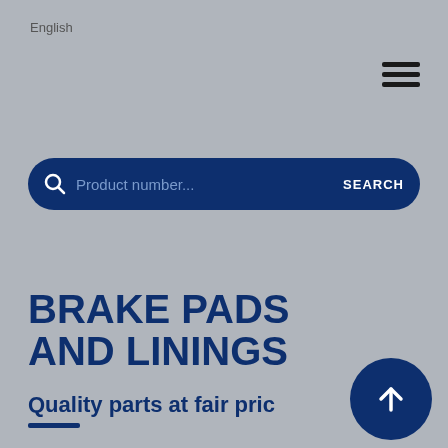English
[Figure (screenshot): Hamburger menu icon (three horizontal black bars) in top right area]
[Figure (screenshot): Search bar with magnifying glass icon, placeholder text 'Product number...', and SEARCH button on dark blue rounded rectangle background]
BRAKE PADS AND LININGS
Quality parts at fair pric...
[Figure (other): Dark blue circular up-arrow button in bottom right corner]
—